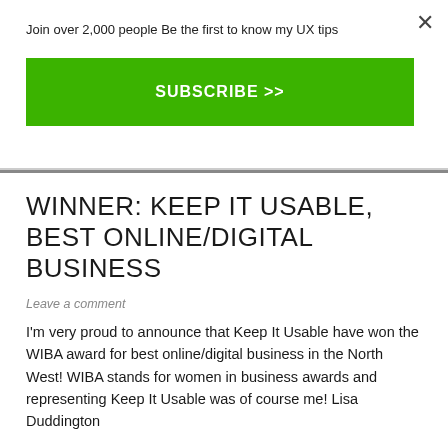Join over 2,000 people Be the first to know my UX tips
SUBSCRIBE >>
WINNER: KEEP IT USABLE, BEST ONLINE/DIGITAL BUSINESS
Leave a comment
I'm very proud to announce that Keep It Usable have won the WIBA award for best online/digital business in the North West! WIBA stands for women in business awards and representing Keep It Usable was of course me! Lisa Duddington